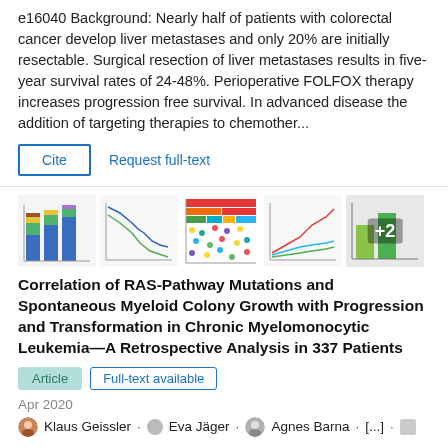e16040 Background: Nearly half of patients with colorectal cancer develop liver metastases and only 20% are initially resectable. Surgical resection of liver metastases results in five-year survival rates of 24-48%. Perioperative FOLFOX therapy increases progression free survival. In advanced disease the addition of targeting therapies to chemother...
Cite   Request full-text
[Figure (other): Thumbnail strip of 5 figures from the paper: bar chart, Kaplan-Meier survival curve, color grid/heatmap, line chart, bar chart with +2 overlay]
Correlation of RAS-Pathway Mutations and Spontaneous Myeloid Colony Growth with Progression and Transformation in Chronic Myelomonocytic Leukemia—A Retrospective Analysis in 337 Patients
Article   Full-text available
Apr 2020
Klaus Geissler · Eva Jäger · Agnes Barna · [...] · Peter Valent
Although the RAS-pathway has been implicated as an important thing in the pathway of chronic myelomonocytic leukemia...